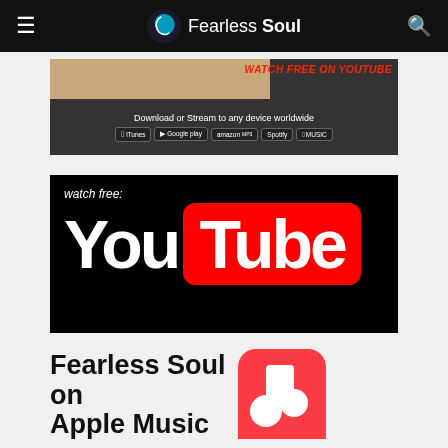Fearless Soul
[Figure (screenshot): Banner ad: WATCH FREE ON YOUTUBE in red italic, Download or Stream to any device worldwide, with iTunes, Google Play, Amazon, Spotify, Apple Music badges on dark background]
[Figure (logo): YouTube logo on black background with 'watch free:' text above — You in white, Tube in white on red rounded rectangle pill]
[Figure (logo): Fearless Soul on Apple Music — text on left, Apple Music pink/red rounded square icon on right, partially cropped]